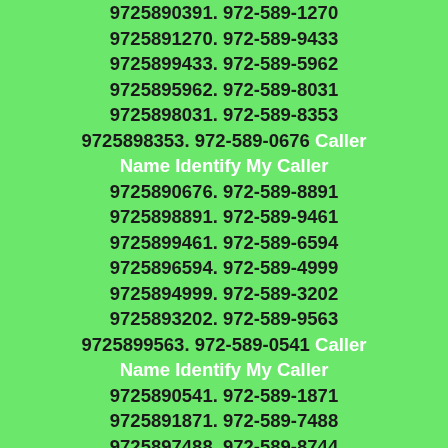9725890391. 972-589-1270 9725891270. 972-589-9433 9725899433. 972-589-5962 9725895962. 972-589-8031 9725898031. 972-589-8353 9725898353. 972-589-0676 Caller Name Identify My Caller 9725890676. 972-589-8891 9725898891. 972-589-9461 9725899461. 972-589-6594 9725896594. 972-589-4999 9725894999. 972-589-3202 9725893202. 972-589-9563 9725899563. 972-589-0541 Caller Name Identify My Caller 9725890541. 972-589-1871 9725891871. 972-589-7488 9725897488. 972-589-8744 9725898744. 972-589-7115 9725897115. 972-589-6276 9725896276. 972-589-7811 9725897811. 972-589-6430 9725896430. 972-589-3271 9725893271. 972-589-0446 Caller Name Identify My Caller 9725890446. 972-589-3119 9725893119. 972-589-8792 9725898792. 972-589-7218 9725897218. 972-589-5995 9725895995. 972-589-5396